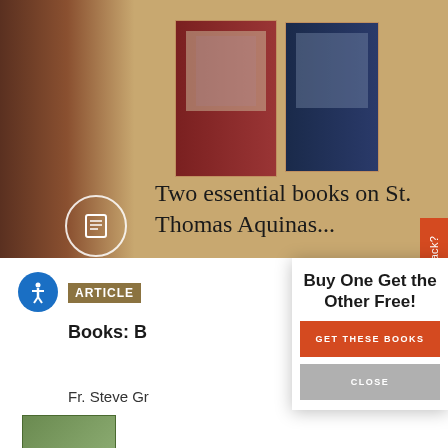[Figure (screenshot): Website screenshot showing a promotional banner for two books on St. Thomas Aquinas with book covers visible on a tan/parchment background]
Two essential books on St. Thomas Aquinas...
ARTICLE
Books: B
Fr. Steve Gr
Buy One Get the Other Free!
GET THESE BOOKS
CLOSE
Website Feedback?